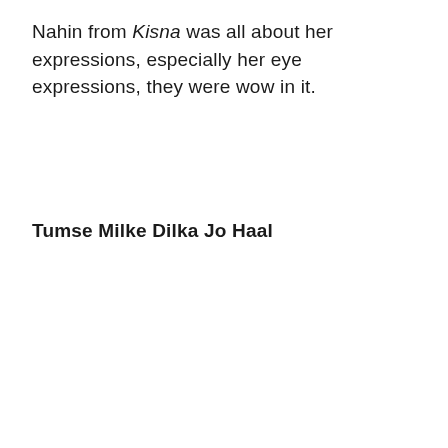Nahin from Kisna was all about her expressions, especially her eye expressions, they were wow in it.
Tumse Milke Dilka Jo Haal